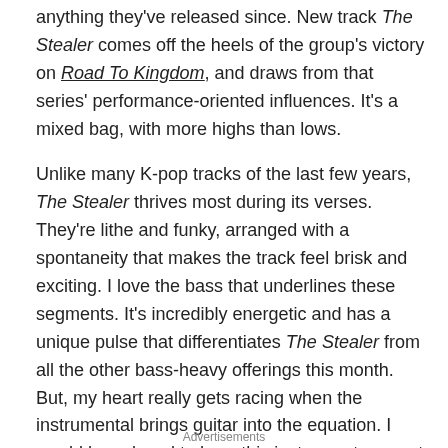anything they've released since. New track The Stealer comes off the heels of the group's victory on Road To Kingdom, and draws from that series' performance-oriented influences. It's a mixed bag, with more highs than lows.
Unlike many K-pop tracks of the last few years, The Stealer thrives most during its verses. They're lithe and funky, arranged with a spontaneity that makes the track feel brisk and exciting. I love the bass that underlines these segments. It's incredibly energetic and has a unique pulse that differentiates The Stealer from all the other bass-heavy offerings this month. But, my heart really gets racing when the instrumental brings guitar into the equation. I would have loved to hear this instrument support the chorus as well, as I think it's an underutilized element in K-pop.
Advertisements